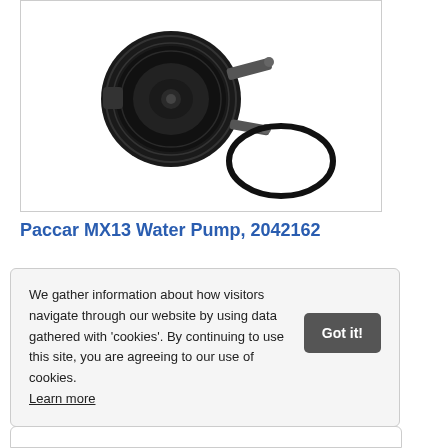[Figure (photo): Black water pump (Paccar MX13) with a separate O-ring seal shown next to it, on a white background inside a bordered box.]
Paccar MX13 Water Pump, 2042162
We gather information about how visitors navigate through our website by using data gathered with 'cookies'. By continuing to use this site, you are agreeing to our use of cookies. Learn more